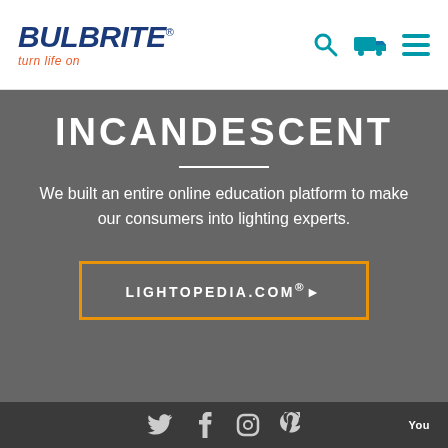[Figure (logo): Bulbrite logo with blue bold text 'BULBRITE' and orange italic tagline 'turn life on']
[Figure (infographic): Navigation icons: search (magnifying glass), delivery truck, and hamburger menu in teal/blue]
INCANDESCENT
We built an entire online education platform to make our consumers into lighting experts.
LIGHTOPEDIA.COM®▶
[Figure (infographic): Dark footer bar with social media icons: Twitter, Facebook, Instagram, Pinterest, and YouTube text]